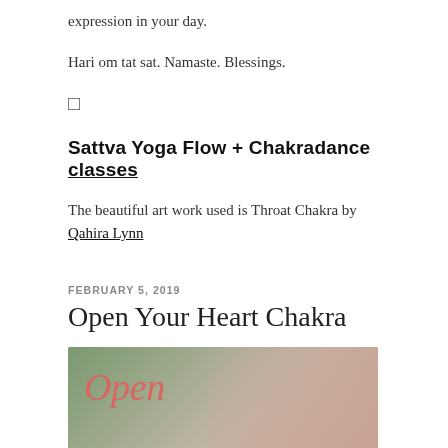expression in your day.
Hari om tat sat. Namaste. Blessings.
□
Sattva Yoga Flow + Chakradance classes
The beautiful art work used is Throat Chakra by Qahira Lynn
FEBRUARY 5, 2019
Open Your Heart Chakra
[Figure (photo): Blog post header image showing cursive text 'Open' in coral/pink color overlaid on a blurred nature background with bokeh lights and a partial view of a person's hair on the right side.]